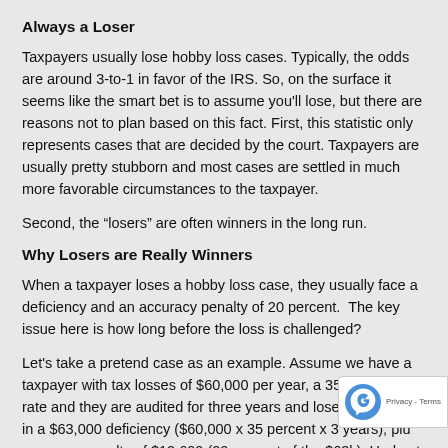Always a Loser
Taxpayers usually lose hobby loss cases. Typically, the odds are around 3-to-1 in favor of the IRS. So, on the surface it seems like the smart bet is to assume you'll lose, but there are reasons not to plan based on this fact. First, this statistic only represents cases that are decided by the court. Taxpayers are usually pretty stubborn and most cases are settled in much more favorable circumstances to the taxpayer.
Second, the “losers” are often winners in the long run.
Why Losers are Really Winners
When a taxpayer loses a hobby loss case, they usually face a deficiency and an accuracy penalty of 20 percent.  The key issue here is how long before the loss is challenged?
Let's take a pretend case as an example. Assume we have a taxpayer with tax losses of $60,000 per year, a 35 percent tax rate and they are audited for three years and lose. This results in a $63,000 deficiency ($60,000 x 35 percent x 3 years), plu accuracy penalty of $12,600 (20 percent of the $63k). Had not claimed the deduction, they would have paid the $63,0 taxes anyway, so this isn't really a loss; only the accuracy